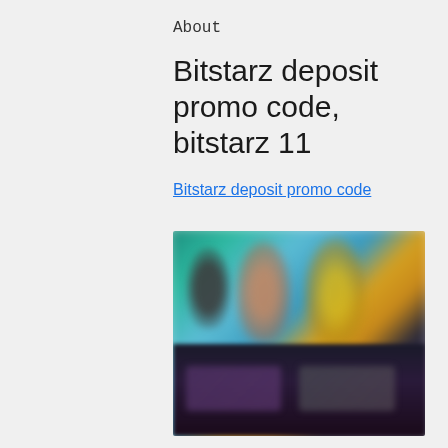About
Bitstarz deposit promo code, bitstarz 11
Bitstarz deposit promo code
[Figure (photo): Blurred screenshot of a casino/gaming website showing colorful animated characters and game cards]